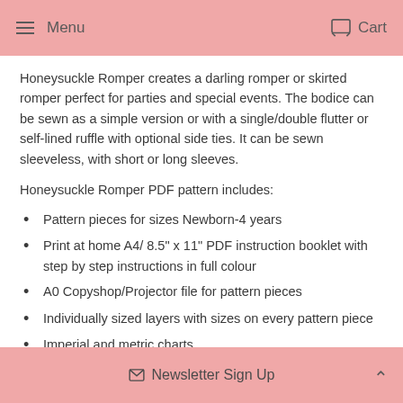Menu  Cart
Honeysuckle Romper creates a darling romper or skirted romper perfect for parties and special events. The bodice can be sewn as a simple version or with a single/double flutter or self-lined ruffle with optional side ties. It can be sewn sleeveless, with short or long sleeves.
Honeysuckle Romper PDF pattern includes:
Pattern pieces for sizes Newborn-4 years
Print at home A4/ 8.5" x 11" PDF instruction booklet with step by step instructions in full colour
A0 Copyshop/Projector file for pattern pieces
Individually sized layers with sizes on every pattern piece
Imperial and metric charts
Newsletter Sign Up